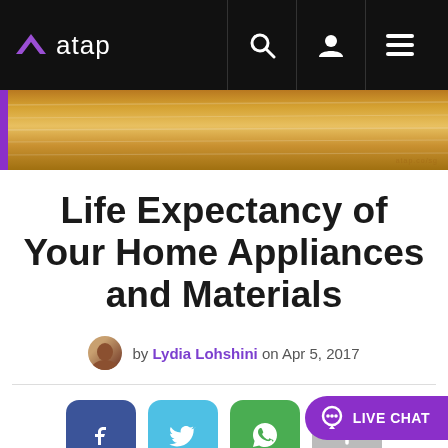atap — navigation bar with search, user, and menu icons
[Figure (photo): Hero banner showing a wooden surface texture with gold/brown tones; purple strip on left edge]
Life Expectancy of Your Home Appliances and Materials
by Lydia Lohshini on Apr 5, 2017
[Figure (infographic): Social share buttons: Facebook (blue), Twitter (cyan), WhatsApp (green), More (gray)]
WHY YOU SHOULD CARE
Did you know that appliances and materials have expiration dates too? Home appliances often break long before they reach their expiration date because